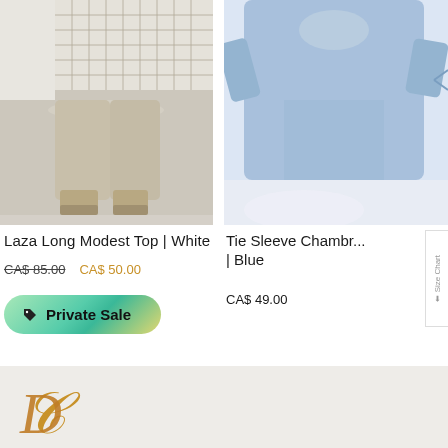[Figure (photo): Fashion photo showing lower body of model wearing white/cream grid-pattern long top with beige cropped pants and wedge sandals, against grey background]
Laza Long Modest Top | White
CA$ 85.00  CA$ 50.00
Private Sale
[Figure (photo): Partial photo of model wearing blue chambray tie-sleeve top against white background]
Tie Sleeve Chambr... | Blue
CA$ 49.00
[Figure (logo): Decorative italic letter D in gold/amber color — brand logo in footer]